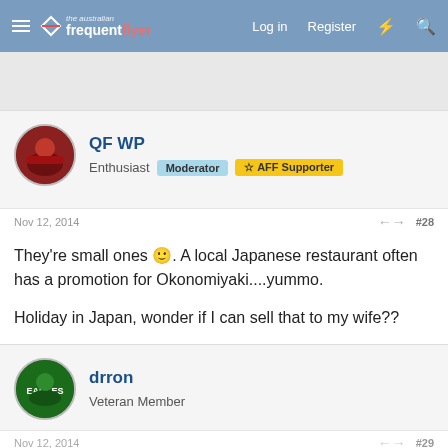the australian frequent flyer | Log in | Register
QF WP
Enthusiast  Moderator  AFF Supporter
Nov 12, 2014  #28
They're small ones 🙂. A local Japanese restaurant often has a promotion for Okonomiyaki....yummo.

Holiday in Japan, wonder if I can sell that to my wife??
drron
Veteran Member
Nov 12, 2014  #29